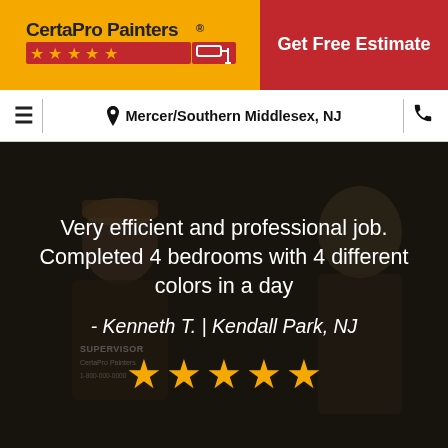[Figure (logo): CertaPro Painters logo with yellow background, red star row, and paint roller icon]
Get Free Estimate
Mercer/Southern Middlesex, NJ
[Figure (photo): Dark photo background with two CertaPro Painters employees; review testimonial overlay reading: Very efficient and professional job. Completed 4 bedrooms with 4 different colors in a day - Kenneth T. | Kendall Park, NJ with five gold stars below]
Very efficient and professional job. Completed 4 bedrooms with 4 different colors in a day
- Kenneth T. | Kendall Park, NJ
★★★★★